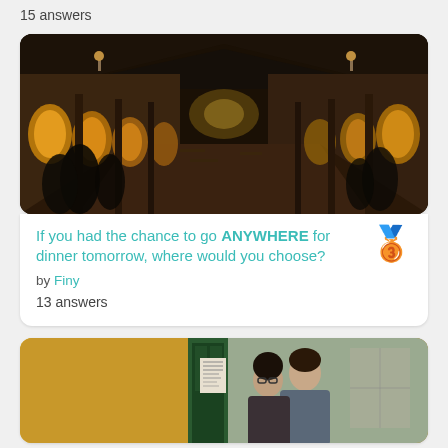15 answers
[Figure (photo): Interior of a large market hall or restaurant with arched columns, dark wooden ceiling beams, warm yellow lighting, people dining along the sides]
If you had the chance to go ANYWHERE for dinner tomorrow, where would you choose?
by Finy
13 answers
[Figure (photo): Two people standing outside near a door with yellow walls, appearing to look at something together]